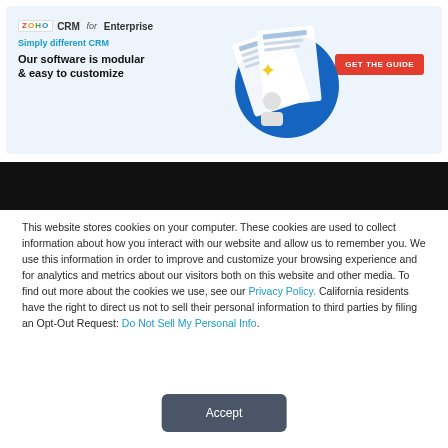[Figure (infographic): Zoho CRM for Enterprise advertisement banner with tagline 'Simply different CRM', headline 'Our software is modular & easy to customize', a GET THE GUIDE red button, and a decorative graphic of documents on a blue circle background.]
This website stores cookies on your computer. These cookies are used to collect information about how you interact with our website and allow us to remember you. We use this information in order to improve and customize your browsing experience and for analytics and metrics about our visitors both on this website and other media. To find out more about the cookies we use, see our Privacy Policy. California residents have the right to direct us not to sell their personal information to third parties by filing an Opt-Out Request: Do Not Sell My Personal Info.
Accept